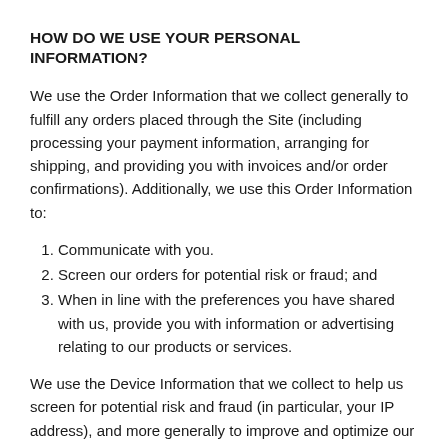HOW DO WE USE YOUR PERSONAL INFORMATION?
We use the Order Information that we collect generally to fulfill any orders placed through the Site (including processing your payment information, arranging for shipping, and providing you with invoices and/or order confirmations). Additionally, we use this Order Information to:
Communicate with you.
Screen our orders for potential risk or fraud; and
When in line with the preferences you have shared with us, provide you with information or advertising relating to our products or services.
We use the Device Information that we collect to help us screen for potential risk and fraud (in particular, your IP address), and more generally to improve and optimize our Site (for example, by generating analytics about how our